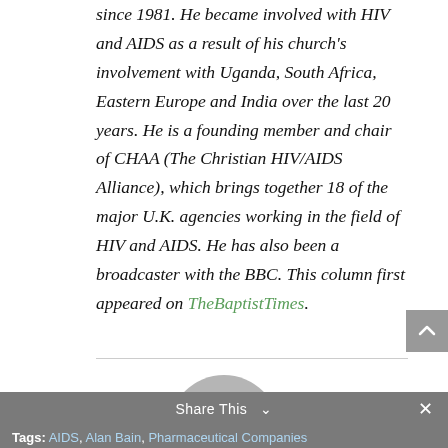since 1981. He became involved with HIV and AIDS as a result of his church's involvement with Uganda, South Africa, Eastern Europe and India over the last 20 years. He is a founding member and chair of CHAA (The Christian HIV/AIDS Alliance), which brings together 18 of the major U.K. agencies working in the field of HIV and AIDS. He has also been a broadcaster with the BBC. This column first appeared on TheBaptistTimes.
[Figure (illustration): Generic user avatar icon — grey circle with silhouette of a person (head and shoulders)]
Alan Bain
Share This  ×  Tags: AIDS, Alan Bain, Pharmaceutical Companies